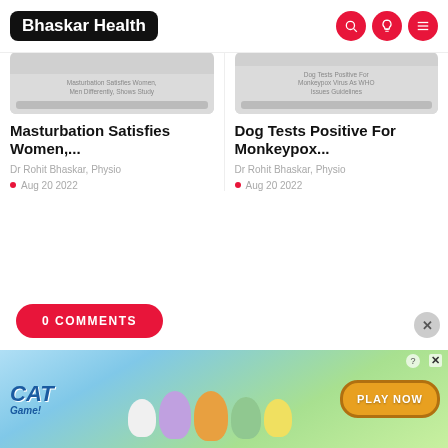Bhaskar Health
[Figure (screenshot): Thumbnail image for article 'Masturbation Satisfies Women, Men Differently, Shows Study' with gray overlay caption]
Masturbation Satisfies Women, Men Differently, Shows Study
Masturbation Satisfies Women,...
Dr Rohit Bhaskar, Physio
Aug 20 2022
[Figure (screenshot): Thumbnail image for article 'Dog Tests Positive For Monkeypox Virus As WHO Issues Guidelines' with gray overlay caption]
Dog Tests Positive For Monkeypox Virus As WHO Issues Guidelines
Dog Tests Positive For Monkeypox...
Dr Rohit Bhaskar, Physio
Aug 20 2022
0 COMMENTS
[Figure (screenshot): Cat Game advertisement banner with cartoon cats and 'PLAY NOW' button]